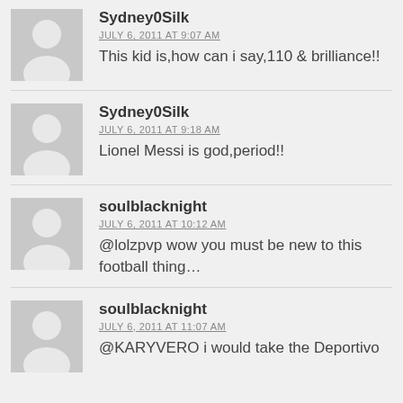[Figure (illustration): Generic user avatar placeholder (grey silhouette of a person on grey background)]
Sydney0Silk
JULY 6, 2011 AT 9:07 AM
This kid is,how can i say,110 & brilliance!!
[Figure (illustration): Generic user avatar placeholder (grey silhouette of a person on grey background)]
Sydney0Silk
JULY 6, 2011 AT 9:18 AM
Lionel Messi is god,period!!
[Figure (illustration): Generic user avatar placeholder (grey silhouette of a person on grey background)]
soulblacknight
JULY 6, 2011 AT 10:12 AM
@lolzpvp wow you must be new to this football thing…
[Figure (illustration): Generic user avatar placeholder (grey silhouette of a person on grey background)]
soulblacknight
JULY 6, 2011 AT 11:07 AM
@KARYVERO i would take the Deportivo